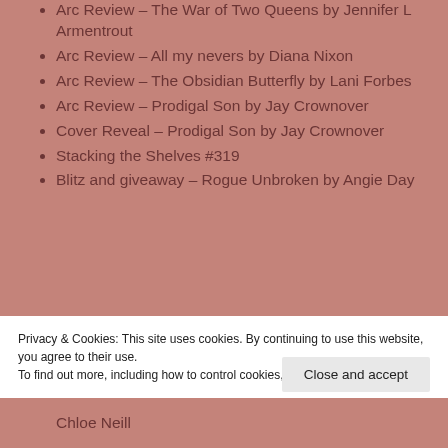Arc Review – The War of Two Queens by Jennifer L Armentrout
Arc Review – All my nevers by Diana Nixon
Arc Review – The Obsidian Butterfly by Lani Forbes
Arc Review – Prodigal Son by Jay Crownover
Cover Reveal – Prodigal Son by Jay Crownover
Stacking the Shelves #319
Blitz and giveaway – Rogue Unbroken by Angie Day
Privacy & Cookies: This site uses cookies. By continuing to use this website, you agree to their use.
To find out more, including how to control cookies, see here: Cookie Policy
Close and accept
Chloe Neill